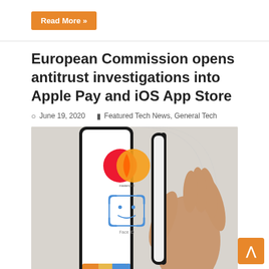Read More »
European Commission opens antitrust investigations into Apple Pay and iOS App Store
June 19, 2020   Featured Tech News, General Tech
[Figure (photo): Hand holding an iPhone displaying Apple Pay with Mastercard and Face ID authentication screen]
Apple is under scrutiny once again in Europe due to its various business practises. This week, the European Commission opened